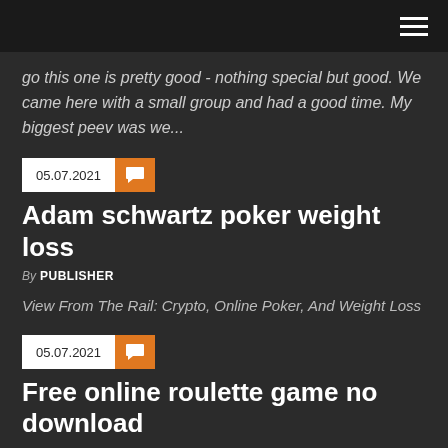go this one is pretty good - nothing special but good. We came here with a small group and had a good time. My biggest peev was we...
05.07.2021
Adam schwartz poker weight loss
By PUBLISHER
View From The Rail: Crypto, Online Poker, And Weight Loss
05.07.2021
Free online roulette game no download
By MARK ZUCKERBERG
For those people who have never tried roulette, there's a few